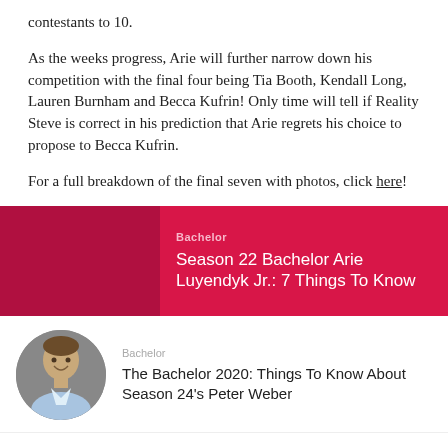contestants to 10.
As the weeks progress, Arie will further narrow down his competition with the final four being Tia Booth, Kendall Long, Lauren Burnham and Becca Kufrin! Only time will tell if Reality Steve is correct in his prediction that Arie regrets his choice to propose to Becca Kufrin.
For a full breakdown of the final seven with photos, click here!
[Figure (infographic): Red card with category label 'Bachelor' and title 'Season 22 Bachelor Arie Luyendyk Jr.: 7 Things To Know']
Bachelor
Season 22 Bachelor Arie Luyendyk Jr.: 7 Things To Know
[Figure (photo): Circular photo of a man in a light blue shirt smiling, on a gray background]
Bachelor
The Bachelor 2020: Things To Know About Season 24's Peter Weber